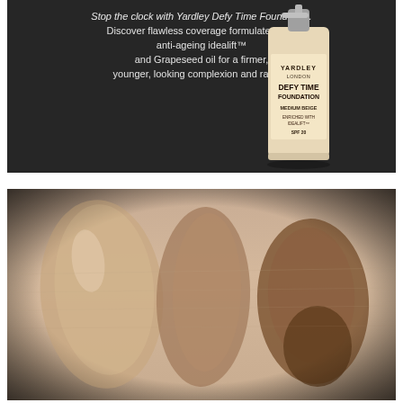[Figure (photo): Product photo of Yardley Defy Time Foundation bottle (Medium Beige, SPF 20) on a dark background with marketing text: 'Stop the clock with Yardley Defy Time Foundation. Discover flawless coverage formulated with anti-ageing idealift™ and Grapeseed oil for a firmer, younger, looking complexion and radi...' The bottle is white/cream colored with silver pump dispenser.]
[Figure (photo): Close-up swatch photo on skin (wrist/arm) showing three foundation shades from Yardley Defy Time Foundation swatched side by side: a light beige on the left, a medium beige/neutral in the center, and a darker bronze-beige on the right.]